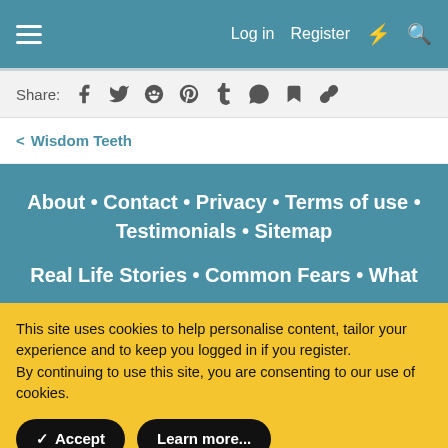Log in  Register
Share:
< Wisdom Teeth
About • Contact • Privacy • Terms of use • Testimonials • Sitemap
Real Life Stories • Common Fears • What
This site uses cookies to help personalise content, tailor your experience and to keep you logged in if you register.
By continuing to use this site, you are consenting to our use of cookies.
✓ Accept   Learn more...